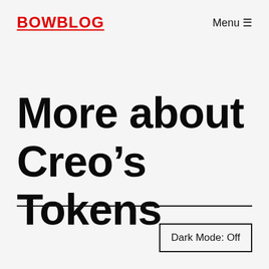BOWBLOG   Menu ≡
More about Creo's Tokens
Dark Mode: Off